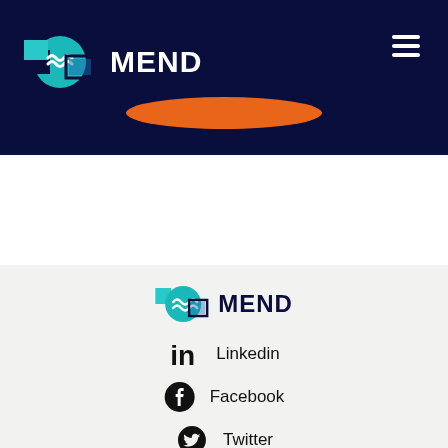[Figure (logo): MEND logo with icon on dark navy header bar, with hamburger menu icon on right]
[Figure (illustration): Orange ellipse/pill shape centered in header]
[Figure (logo): MEND logo with icon in footer area]
Linkedin
Facebook
Twitter
Youtube